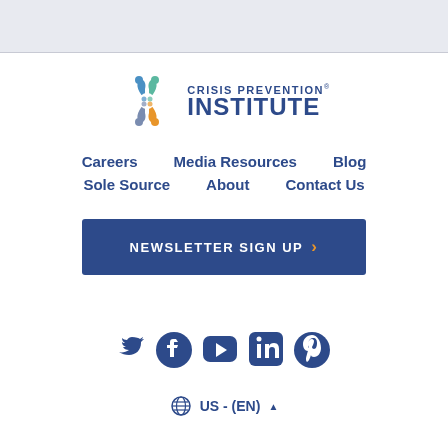[Figure (logo): Crisis Prevention Institute logo with colorful butterfly/people icon and text]
Careers
Media Resources
Blog
Sole Source
About
Contact Us
NEWSLETTER SIGN UP
[Figure (infographic): Social media icons: Twitter, Facebook, YouTube, LinkedIn, Pinterest]
US - (EN)